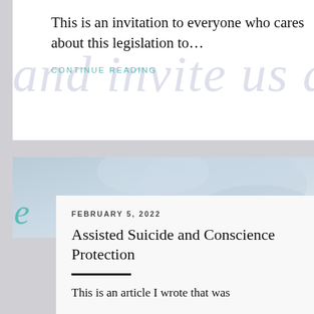This is an invitation to everyone who cares about this legislation to…
CONTINUE READING
[Figure (photo): Light blue/grey abstract background photo for article card, showing soft shapes]
FEBRUARY 5, 2022
Assisted Suicide and Conscience Protection
This is an article I wrote that was